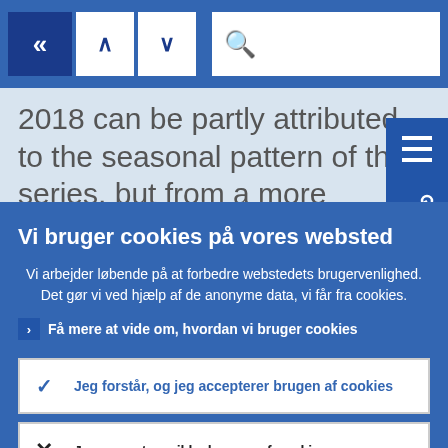[Figure (screenshot): Web browser toolbar with navigation buttons (back, up, down, search bar) on a blue background]
2018 can be partly attributed to the seasonal pattern of the series, but from a more medium-term perspective the annua...
Vi bruger cookies på vores websted
Vi arbejder løbende på at forbedre webstedets brugervenlighed. Det gør vi ved hjælp af de anonyme data, vi får fra cookies.
Få mere at vide om, hvordan vi bruger cookies
Jeg forstår, og jeg accepterer brugen af cookies
Jeg accepterer ikke brugen af cookies